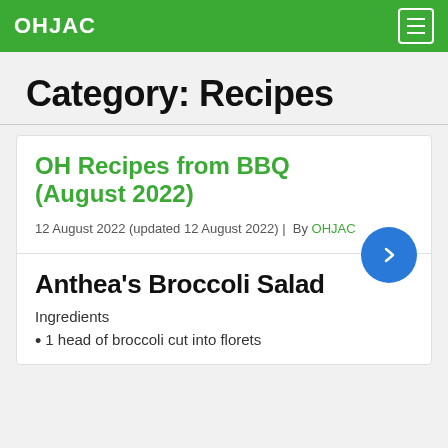OHJAC
Category: Recipes
OH Recipes from BBQ (August 2022)
12 August 2022 (updated 12 August 2022) |  By OHJAC
Anthea's Broccoli Salad
Ingredients
1 head of broccoli cut into florets